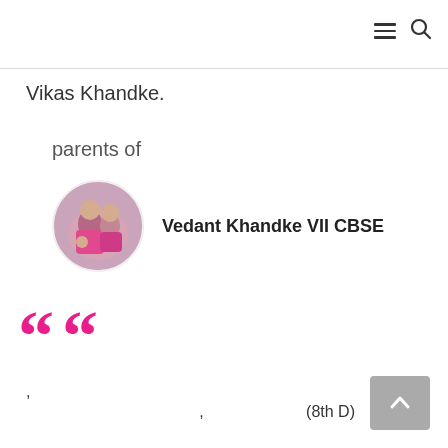≡  🔍
Vikas Khandke.
parents of
[Figure (photo): Circular profile photo of a woman in pink clothing with another person]
Vedant Khandke VII CBSE
““
, (8th D)